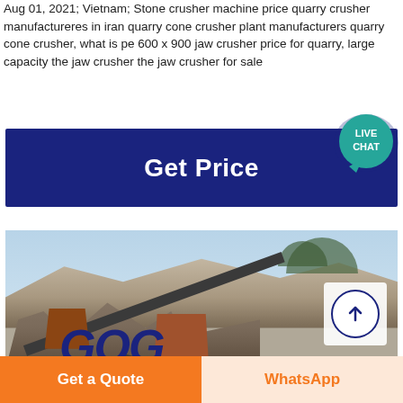Aug 01, 2021; Vietnam; Stone crusher machine price quarry crusher manufactureres in iran quarry cone crusher plant manufacturers quarry cone crusher, what is pe 600 x 900 jaw crusher price for quarry, large capacity the jaw crusher the jaw crusher for sale
[Figure (screenshot): Dark blue 'Get Price' banner button with a teal 'LIVE CHAT' speech bubble icon on the right]
[Figure (photo): Quarry site with stone crushing machinery, conveyor belts, hoppers, and a rocky hill in the background]
Get a Quote
WhatsApp